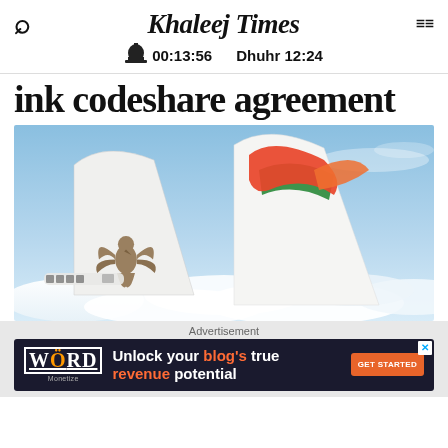Khaleej Times  00:13:56  Dhuhr 12:24
ink codeshare agreement
[Figure (photo): Two aircraft tails flying above clouds: left tail shows a golden eagle emblem (Jazeera Airways style), right tail shows red/green/orange bird emblem (SriLankan Airlines style) against a blue sky with white clouds.]
Advertisement
Unlock your blog's true revenue potential  GET STARTED